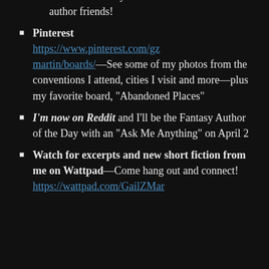some more of my awesome author friends!
Pinterest https://www.pinterest.com/gzmartin/boards/ —See some of my photos from the conventions I attend, cities I visit and more—plus my favorite board, “Abandoned Places”
I’m now on Reddit and I’ll be the Fantasy Author of the Day with an “Ask Me Anything” on April 2
Watch for excerpts and new short fiction from me on Wattpad—Come hang out and connect! https://wattpad.com/GailZMar